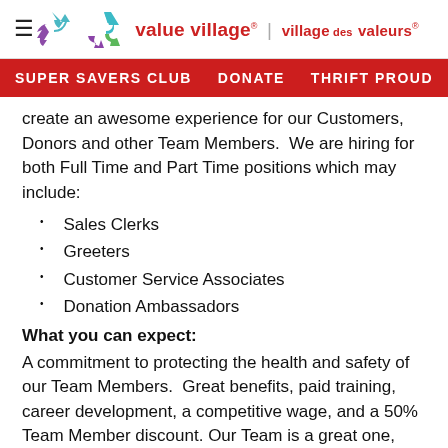value village | village des valeurs
SUPER SAVERS CLUB   DONATE   THRIFT PROUD
create an awesome experience for our Customers, Donors and other Team Members.  We are hiring for both Full Time and Part Time positions which may include:
Sales Clerks
Greeters
Customer Service Associates
Donation Ambassadors
What you can expect:
A commitment to protecting the health and safety of our Team Members.  Great benefits, paid training, career development, a competitive wage, and a 50% Team Member discount. Our Team is a great one, made up of people from many different backgrounds, experiences, and perspectives, all with something special to contribute.  You'll positively impact Team Members